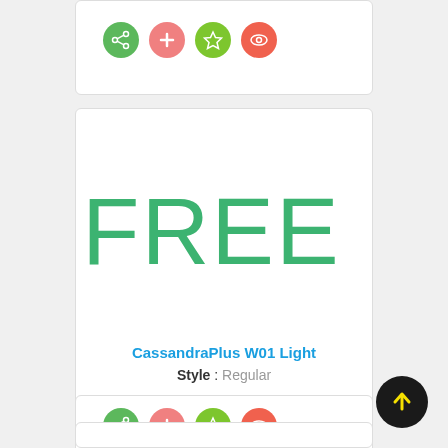[Figure (screenshot): Partial top card with action buttons: share (green), add (pink), star (green), eye (red/orange)]
[Figure (screenshot): Font preview card showing 'FREE' in large green CassandraPlus W01 Light font, with font name in blue and style 'Regular' below]
CassandraPlus W01 Light
Style : Regular
[Figure (screenshot): Action buttons row: share (green), add (pink), star (green), eye (red/orange)]
[Figure (screenshot): Scroll-to-top button: black circle with yellow upward arrow]